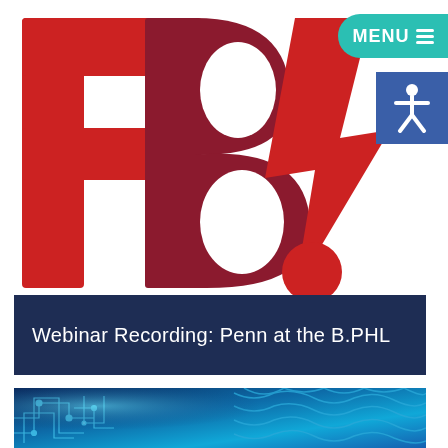[Figure (logo): B.PHL logo with large red letter F, dark red letter B, and red lightning bolt with exclamation mark dot]
[Figure (illustration): MENU button in teal/green color on top right, and blue accessibility icon below it]
Webinar Recording: Penn at the B.PHL
[Figure (photo): Blue circuit board / technology background image]